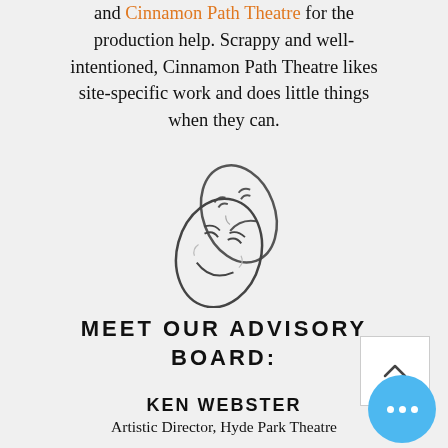and Cinnamon Path Theatre for the production help. Scrappy and well-intentioned, Cinnamon Path Theatre likes site-specific work and does little things when they can.
[Figure (illustration): Sketch-style illustration of two theatre comedy/tragedy masks intertwined]
MEET OUR ADVISORY BOARD:
KEN WEBSTER
Artistic Director, Hyde Park Theatre
KELSEY ALTOM KLING
Fine Arts Coordinator, Texas Education Agency
MORGANNE DAVIES